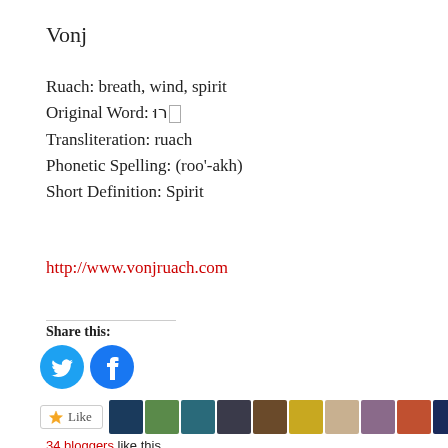Vonj
Ruach: breath, wind, spirit
Original Word: רוּחַ
Transliteration: ruach
Phonetic Spelling: (roo'-akh)
Short Definition: Spirit
http://www.vonjruach.com
Share this:
[Figure (infographic): Twitter and Facebook share buttons as circular blue icons]
[Figure (infographic): Like button and blogger avatars row]
34 bloggers like this.